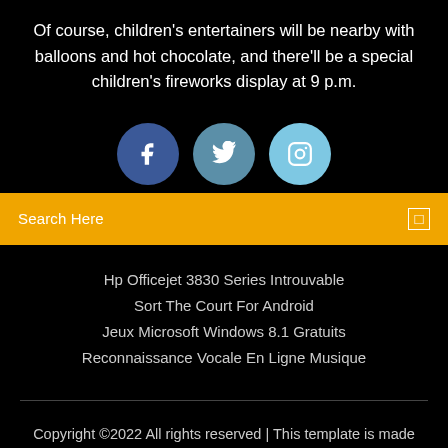Of course, children's entertainers will be nearby with balloons and hot chocolate, and there'll be a special children's fireworks display at 9 p.m.
[Figure (illustration): Three social media icon circles: Facebook (dark blue), Twitter (steel blue), Instagram (light blue)]
Search Here
Hp Officejet 3830 Series Introuvable
Sort The Court For Android
Jeux Microsoft Windows 8.1 Gratuits
Reconnaissance Vocale En Ligne Musique
Copyright ©2022 All rights reserved | This template is made with ♡ by Colorlib